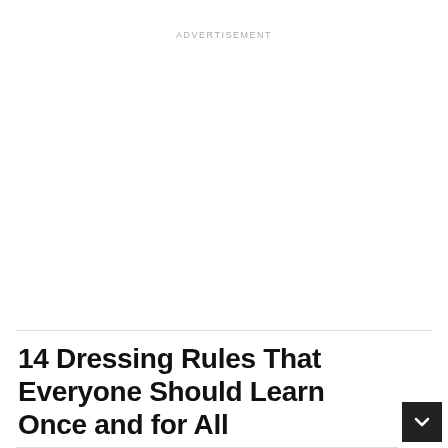ADVERTISEMENT
14 Dressing Rules That Everyone Should Learn Once and for All